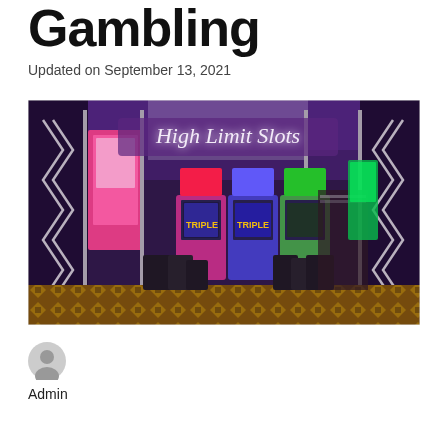Gambling
Updated on September 13, 2021
[Figure (photo): Interior of a casino High Limit Slots room with rows of colorful slot machines under purple lighting and a neon sign reading 'High Limit Slots']
Admin